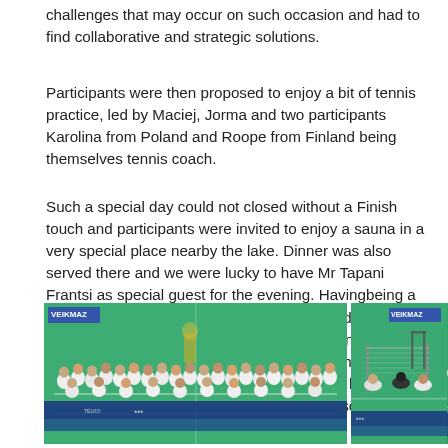challenges that may occur on such occasion and had to find collaborative and strategic solutions.
Participants were then proposed to enjoy a bit of tennis practice, led by Maciej, Jorma and two participants Karolina from Poland and Roope from Finland being themselves tennis coach.
Such a special day could not closed without a Finish touch and participants were invited to enjoy a sauna in a very special place nearby the lake. Dinner was also served there and we were lucky to have Mr Tapani Frantsi as special guest for the evening. Havingbeing a pioneer in sport management and spsort leadership in Finlandand being enthusiast about international copperation in the field, he told participants that them being here for such a kind of training was for him a dream come true! We bet it was the wase also for some of them if not all!
[Figure (photo): Group photo of participants in white t-shirts on an indoor tennis/badminton court with green floor and blue advertising banners]
[Figure (photo): Person facing away from camera with back to a large group of participants on a green indoor sports court]
[Figure (photo): Participants playing or doing drills on an indoor sports court with green floor, with net and goals visible]